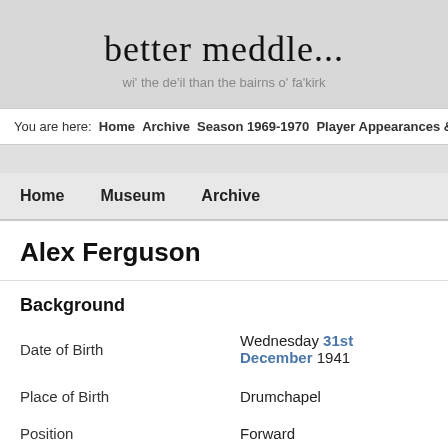better meddle...
wi' the de'il than the bairns o' fa'kirk
You are here: Home Archive Season 1969-1970 Player Appearances & Goals
Home  Museum  Archive
Alex Ferguson
Background
|  |  |
| --- | --- |
| Date of Birth | Wednesday 31st December 1941 |
| Place of Birth | Drumchapel |
| Position | Forward |